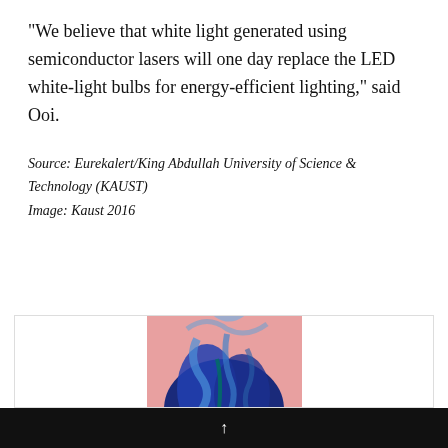“We believe that white light generated using semiconductor lasers will one day replace the LED white-light bulbs for energy-efficient lighting,” said Ooi.
Source: Eurekalert/King Abdullah University of Science & Technology (KAUST)
Image: Kaust 2016
[Figure (photo): Photo of blue swirling liquid or laser light effect against a pink background, showing abstract blue and teal colors]
↑